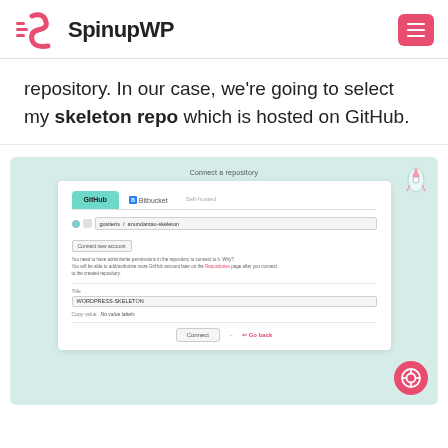SpinupWP
repository. In our case, we're going to select my skeleton repo which is hosted on GitHub.
[Figure (screenshot): Screenshot of SpinupWP Connect a repository modal with GitHub, Bitbucket, and Self-hosted tabs. GitHub tab is active (teal). Shows a repository selector with 'gositeris / anundantau-skeleton' selected, a 'Connect new account' button, informational text, a Title field with 'WORDPRESS-SKELETON', a Copy value field showing 'No value labels', and a bottom row with Connect and Go back buttons.]